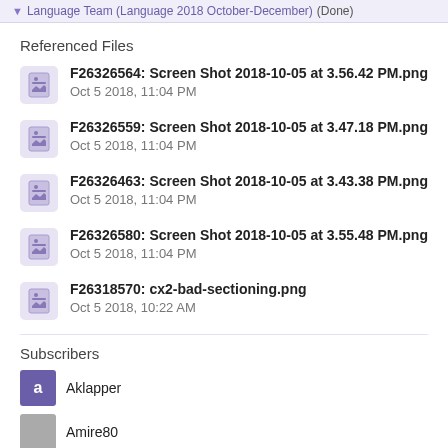Language Team (Language 2018 October-December) (Done)
Referenced Files
F26326564: Screen Shot 2018-10-05 at 3.56.42 PM.png
Oct 5 2018, 11:04 PM
F26326559: Screen Shot 2018-10-05 at 3.47.18 PM.png
Oct 5 2018, 11:04 PM
F26326463: Screen Shot 2018-10-05 at 3.43.38 PM.png
Oct 5 2018, 11:04 PM
F26326580: Screen Shot 2018-10-05 at 3.55.48 PM.png
Oct 5 2018, 11:04 PM
F26318570: cx2-bad-sectioning.png
Oct 5 2018, 10:22 AM
Subscribers
Aklapper
Amire80